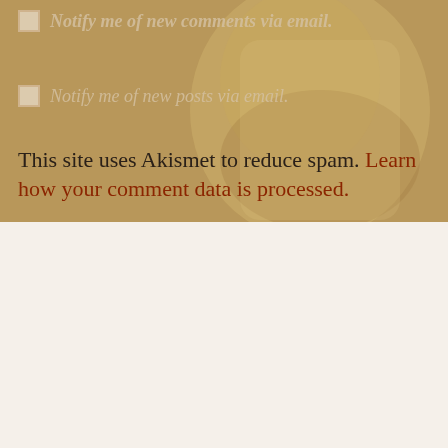Notify me of new comments via email.
Notify me of new posts via email.
This site uses Akismet to reduce spam. Learn how your comment data is processed.
FOLLOW BLOG VIA EMAIL
Enter your email address to follow this blog and receive notifications of new posts by email.
Enter your email address
FOLLOW